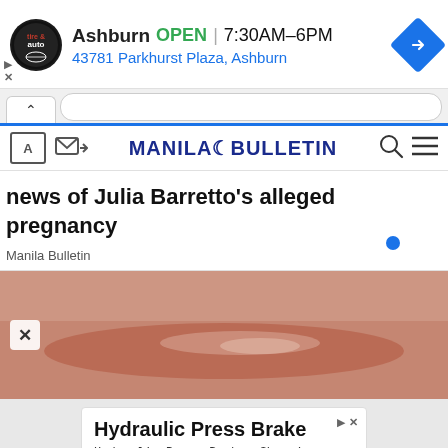[Figure (screenshot): Mobile browser screenshot showing Manila Bulletin news page about Julia Barretto pregnancy news, with ads from a tire and auto shop and Hydraulic Press Brake]
Ashburn  OPEN  7:30AM–6PM
43781 Parkhurst Plaza, Ashburn
MANILA BULLETIN
news of Julia Barretto's alleged pregnancy
Manila Bulletin
Hydraulic Press Brake
Hydraulic Press Brake. Shearing Machines. Plasma Cutting Machine
DENER USA
Open